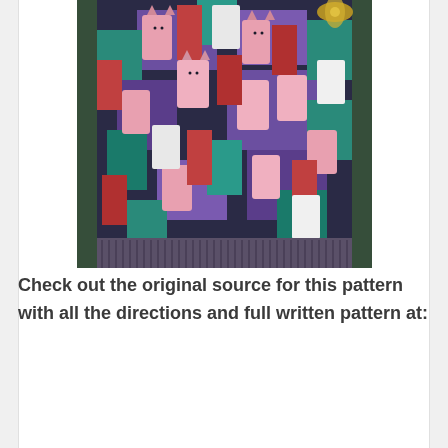[Figure (photo): A colorful crocheted blanket or afghan with a cat pattern in multiple colors including pink, purple, teal, red, and dark gray. The blanket has fringe along the bottom and is draped over what appears to be a green surface.]
Check out the original source for this pattern with all the directions and full written pattern at: